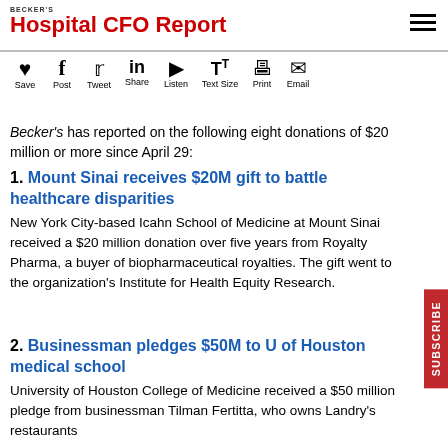Becker's Hospital CFO Report
[Figure (other): Social sharing toolbar with icons: Save (heart), Post (Facebook f), Tweet (Twitter bird), Share (LinkedIn in), Listen (play button), Text Size (TT), Print (printer), Email (envelope)]
Becker's has reported on the following eight donations of $20 million or more since April 29:
1. Mount Sinai receives $20M gift to battle healthcare disparities
New York City-based Icahn School of Medicine at Mount Sinai received a $20 million donation over five years from Royalty Pharma, a buyer of biopharmaceutical royalties. The gift went to the organization's Institute for Health Equity Research.
2. Businessman pledges $50M to U of Houston medical school
University of Houston College of Medicine received a $50 million pledge from businessman Tilman Fertitta, who owns Landry's restaurants